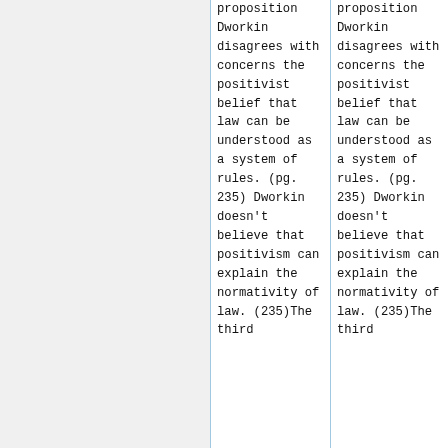proposition Dworkin disagrees with concerns the positivist belief that law can be understood as a system of rules. (pg. 235) Dworkin doesn't believe that positivism can explain the normativity of law. (235)The third
proposition Dworkin disagrees with concerns the positivist belief that law can be understood as a system of rules. (pg. 235) Dworkin doesn't believe that positivism can explain the normativity of law. (235)The third